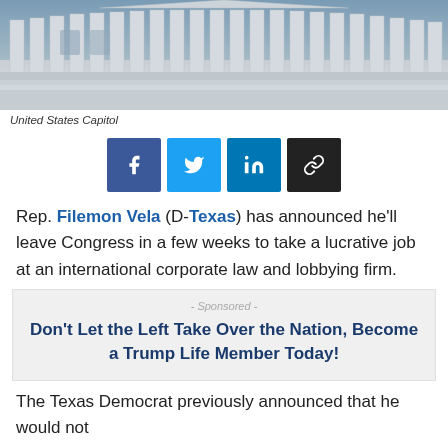[Figure (photo): Black and white photo of the United States Capitol building with large columns]
United States Capitol
[Figure (infographic): Social media share buttons: Facebook, Twitter, LinkedIn, Link]
Rep. Filemon Vela (D-Texas) has announced he'll leave Congress in a few weeks to take a lucrative job at an international corporate law and lobbying firm.
- Sponsored -
Don't Let the Left Take Over the Nation, Become a Trump Life Member Today!
The Texas Democrat previously announced that he would not